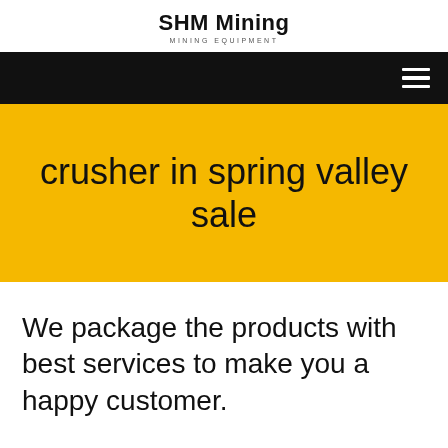SHM Mining
MINING EQUIPMENT
[Figure (other): Black navigation bar with hamburger menu icon (three horizontal white lines) on the right side]
crusher in spring valley sale
We package the products with best services to make you a happy customer.